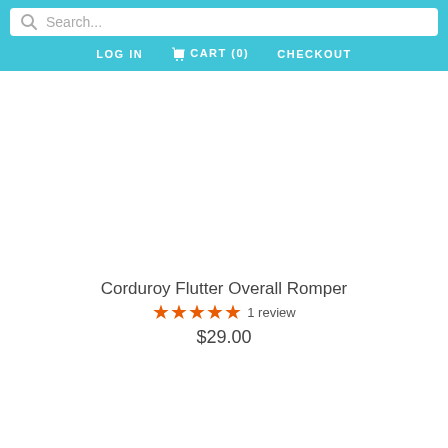Search... LOG IN  CART (0)  CHECKOUT
[Figure (other): Product image placeholder for Corduroy Flutter Overall Romper (white/blank area)]
Corduroy Flutter Overall Romper
★★★★★ 1 review
$29.00